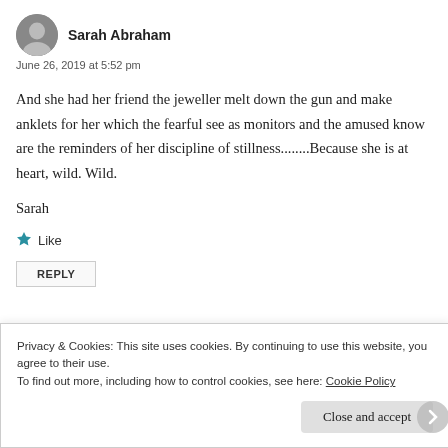[Figure (photo): Small circular avatar photo of Sarah Abraham, grayscale portrait]
Sarah Abraham
June 26, 2019 at 5:52 pm
And she had her friend the jeweller melt down the gun and make anklets for her which the fearful see as monitors and the amused know are the reminders of her discipline of stillness........Because she is at heart, wild. Wild.
Sarah
Like
REPLY
Privacy & Cookies: This site uses cookies. By continuing to use this website, you agree to their use.
To find out more, including how to control cookies, see here: Cookie Policy
Close and accept